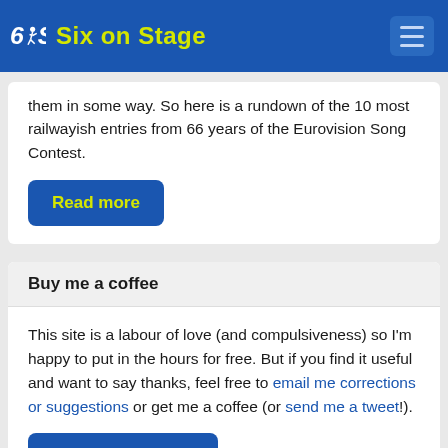Six on Stage
them in some way. So here is a rundown of the 10 most railwayish entries from 66 years of the Eurovision Song Contest.
Read more
Buy me a coffee
This site is a labour of love (and compulsiveness) so I'm happy to put in the hours for free. But if you find it useful and want to say thanks, feel free to email me corrections or suggestions or get me a coffee (or send me a tweet!).
Buy me a coffee